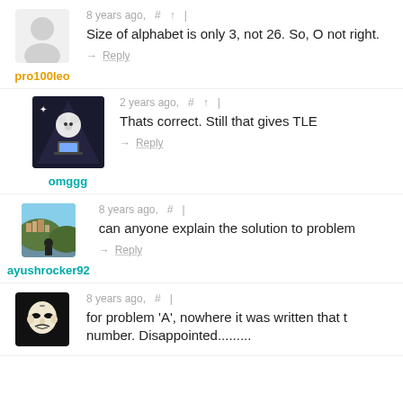[Figure (illustration): Generic user avatar (grey silhouette)]
pro100leo
8 years ago,  #  ↑  |
Size of alphabet is only 3, not 26. So, O not right.
→ Reply
[Figure (photo): User avatar showing a white bear/dog plush sitting at a laptop in a dark scene]
omggg
2 years ago,  #  ↑  |
Thats correct. Still that gives TLE
→ Reply
[Figure (photo): User avatar showing outdoor hillside town photo with person in foreground]
ayushrocker92
8 years ago,  #  |
can anyone explain the solution to problem
→ Reply
[Figure (illustration): Dark avatar with Guy Fawkes / anonymous mask]
8 years ago,  #  |
for problem 'A', nowhere it was written that t number. Disappointed.........